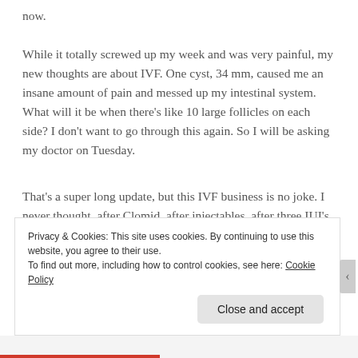now.
While it totally screwed up my week and was very painful, my new thoughts are about IVF. One cyst, 34 mm, caused me an insane amount of pain and messed up my intestinal system. What will it be when there’s like 10 large follicles on each side? I don’t want to go through this again. So I will be asking my doctor on Tuesday.
That’s a super long update, but this IVF business is no joke. I never thought, after Clomid, after injectables, after three IUI’s, I’d be here, but I am. I want this to work so bad, so at this point, I’m anxious.
Privacy & Cookies: This site uses cookies. By continuing to use this website, you agree to their use. To find out more, including how to control cookies, see here: Cookie Policy